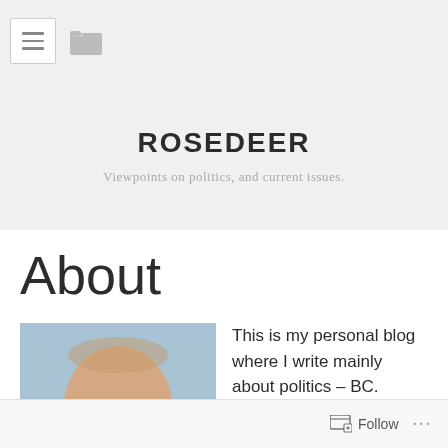ROSEDEER — Viewpoints on politics, and current issues.
About
[Figure (photo): Headshot photo of a bald/closely cropped man against a light blue background, cropped at approximately chin level at the bottom of the visible area.]
This is my personal blog where I write mainly about politics – BC.